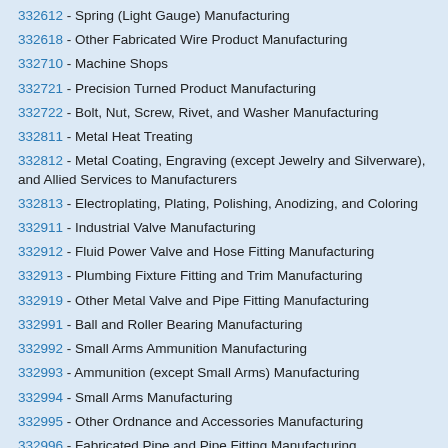332612 - Spring (Light Gauge) Manufacturing
332618 - Other Fabricated Wire Product Manufacturing
332710 - Machine Shops
332721 - Precision Turned Product Manufacturing
332722 - Bolt, Nut, Screw, Rivet, and Washer Manufacturing
332811 - Metal Heat Treating
332812 - Metal Coating, Engraving (except Jewelry and Silverware), and Allied Services to Manufacturers
332813 - Electroplating, Plating, Polishing, Anodizing, and Coloring
332911 - Industrial Valve Manufacturing
332912 - Fluid Power Valve and Hose Fitting Manufacturing
332913 - Plumbing Fixture Fitting and Trim Manufacturing
332919 - Other Metal Valve and Pipe Fitting Manufacturing
332991 - Ball and Roller Bearing Manufacturing
332992 - Small Arms Ammunition Manufacturing
332993 - Ammunition (except Small Arms) Manufacturing
332994 - Small Arms Manufacturing
332995 - Other Ordnance and Accessories Manufacturing
332996 - Fabricated Pipe and Pipe Fitting Manufacturing
332997 - Industrial Pattern Manufacturing